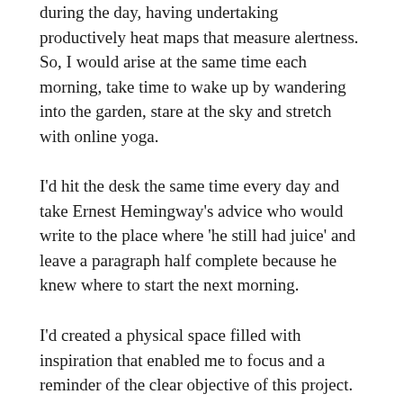during the day, having undertaking productively heat maps that measure alertness. So, I would arise at the same time each morning, take time to wake up by wandering into the garden, stare at the sky and stretch with online yoga.
I'd hit the desk the same time every day and take Ernest Hemingway's advice who would write to the place where 'he still had juice' and leave a paragraph half complete because he knew where to start the next morning.
I'd created a physical space filled with inspiration that enabled me to focus and a reminder of the clear objective of this project.